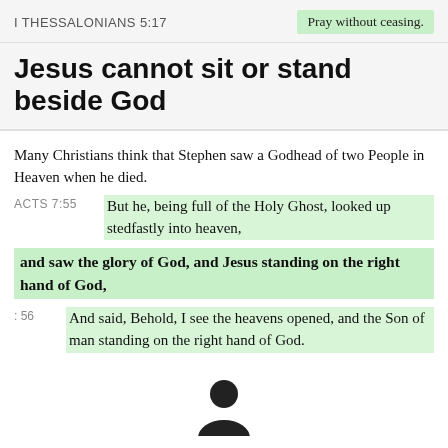I THESSALONIANS 5:17
Pray without ceasing.
Jesus cannot sit or stand beside God
Many Christians think that Stephen saw a Godhead of two People in Heaven when he died.
ACTS 7:55   But he, being full of the Holy Ghost, looked up stedfastly into heaven,
and saw the glory of God, and Jesus standing on the right hand of God,
: 56   And said, Behold, I see the heavens opened, and the Son of man standing on the right hand of God.
[Figure (illustration): Partial view of a circular person/user icon at the bottom center of the page]